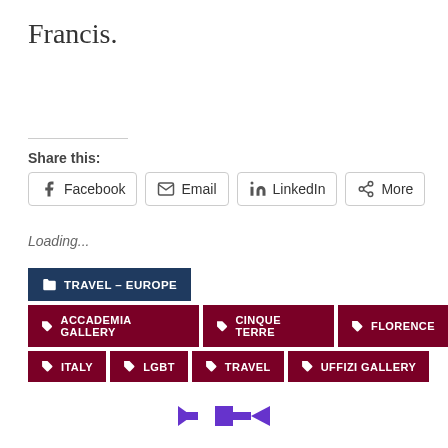Francis.
Share this:
Facebook  Email  LinkedIn  More
Loading...
TRAVEL - EUROPE
ACCADEMIA GALLERY
CINQUE TERRE
FLORENCE
ITALY
LGBT
TRAVEL
UFFIZI GALLERY
[Figure (other): Navigation arrows with a small purple square icon in the center, pointing left and right]